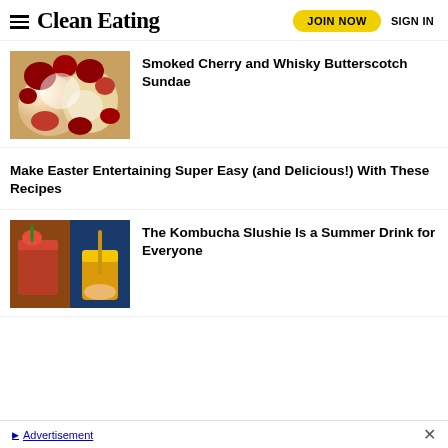Clean Eating | JOIN NOW | SIGN IN
[Figure (photo): Smoked cherry and butterscotch sundae dessert in glass cups with whipped cream and dark cherries]
Smoked Cherry and Whisky Butterscotch Sundae
Make Easter Entertaining Super Easy (and Delicious!) With These Recipes
[Figure (photo): Two kombucha slushie drinks - one red/orange on left, one yellow in a cup with a straw on right against blue background]
The Kombucha Slushie Is a Summer Drink for Everyone
Advertisement